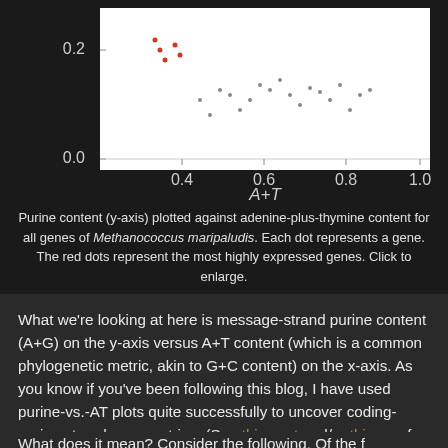[Figure (continuous-plot): Scatter plot showing purine content (y-axis, 0.0 to ~0.2 visible) vs A+T content (x-axis, 0.4 to 1.0). Points scattered with red dots representing highly expressed genes.]
Purine content (y-axis) plotted against adenine-plus-thymine content for all genes of Methanococcus maripaludis. Each dot represents a gene. The red dots represent the most highly expressed genes. Click to enlarge.
What we're looking at here is message-strand purine content (A+G) on the y-axis versus A+T content (which is a common phylogenetic metric, akin to G+C content) on the x-axis. As you know if you've been following this blog, I have used purine-vs.-AT plots quite successfully to uncover coding-region strand asymmetries. (See this post and/or this one for details.) The important thing to notice above is that while points tend to fall in a shotgun-blast centered roughly at x=0.66 and y=0.55, the Highly Expressed Genes (HEGs, in red) cover the upper left quadrant of the shotgun blast.
What does it mean? Consider the following. Of the f...